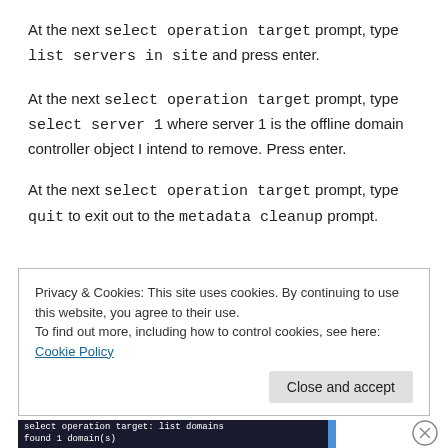At the next select operation target prompt, type list servers in site and press enter.
At the next select operation target prompt, type select server 1 where server 1 is the offline domain controller object I intend to remove. Press enter.
At the next select operation target prompt, type quit to exit out to the metadata cleanup prompt.
Privacy & Cookies: This site uses cookies. By continuing to use this website, you agree to their use.
To find out more, including how to control cookies, see here: Cookie Policy
[Figure (screenshot): Terminal screenshot showing 'select operation target: list domains' and 'found 1 domain(s)' text in a dark console window]